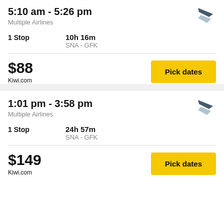5:10 am - 5:26 pm
Multiple Airlines
1 Stop
10h 16m
SNA - GFK
$88
Kiwi.com
Pick dates
1:01 pm - 3:58 pm
Multiple Airlines
1 Stop
24h 57m
SNA - GFK
$149
Kiwi.com
Pick dates